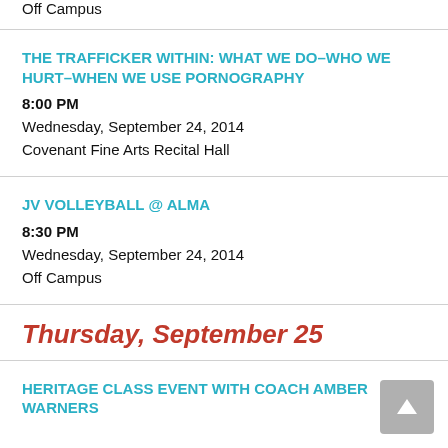Off Campus
THE TRAFFICKER WITHIN: WHAT WE DO–WHO WE HURT–WHEN WE USE PORNOGRAPHY
8:00 PM
Wednesday, September 24, 2014
Covenant Fine Arts Recital Hall
JV VOLLEYBALL @ ALMA
8:30 PM
Wednesday, September 24, 2014
Off Campus
Thursday, September 25
HERITAGE CLASS EVENT WITH COACH AMBER WARNERS